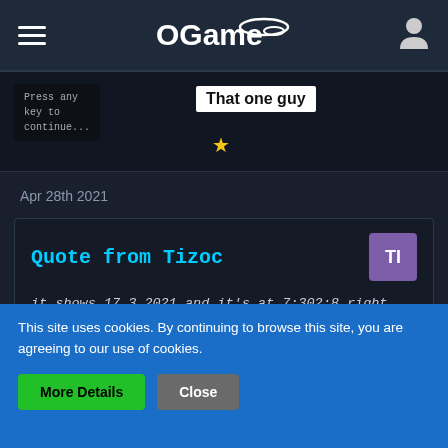OGame navigation bar
[Figure (screenshot): User terminal card showing 'Press any key to continue...' text with username 'That one guy' and a gold star icon]
Apr 28th 2021
Quote from Tizoc
it shows 17.3.2021 and it's at 7:302:8 right where you are at . So the website isn't working for you only ? And the leaderboards ingame reflect the same jumps are they wrong too ???
Could be as I created a Ticket about the points being
This site uses cookies. By continuing to browse this site, you are agreeing to our use of cookies.